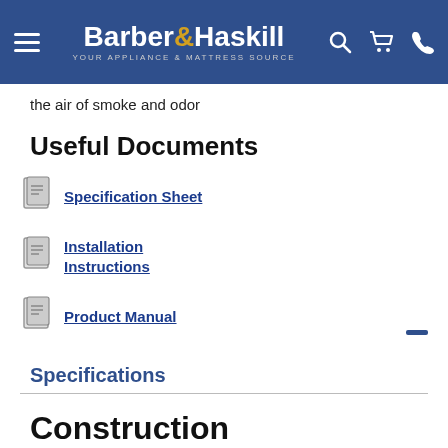Barber & Haskill — YOUR APPLIANCE & MATTRESS SOURCE
the air of smoke and odor
Useful Documents
Specification Sheet
Installation Instructions
Product Manual
Specifications
Construction